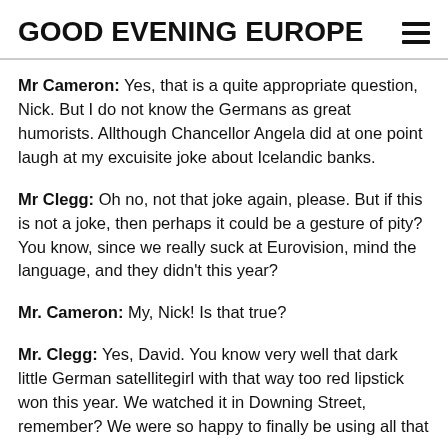GOOD EVENING EUROPE
Mr Cameron: Yes, that is a quite appropriate question, Nick. But I do not know the Germans as great humorists. Allthough Chancellor Angela did at one point laugh at my excuisite joke about Icelandic banks.
Mr Clegg: Oh no, not that joke again, please. But if this is not a joke, then perhaps it could be a gesture of pity? You know, since we really suck at Eurovision, mind the language, and they didn't this year?
Mr. Cameron: My, Nick! Is that true?
Mr. Clegg: Yes, David. You know very well that dark little German satellitegirl with that way too red lipstick won this year. We watched it in Downing Street, remember? We were so happy to finally be using all that